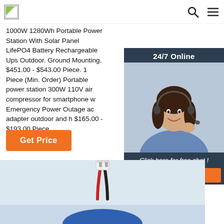Logo | Search | Menu navigation bar
1000W 1280Wh Portable Power Station With Solar Panel LifePO4 Battery Rechargeable Ups Outdoor. Ground Mounting. $451.00 - $543.00 Piece. 1 Piece (Min. Order) Portable power station 300W 110V air compressor for smartphone w Emergency Power Outage ac adapter outdoor and h $165.00 - $193.00 Piece.
[Figure (photo): 24/7 Online chat widget with woman wearing headset, blue background, with 'Click here for free chat!' text and QUOTATION button]
Get Price
[Figure (photo): Product photo showing a white electrical connector with red and black wires on a light background, with a blue battery partially visible at bottom]